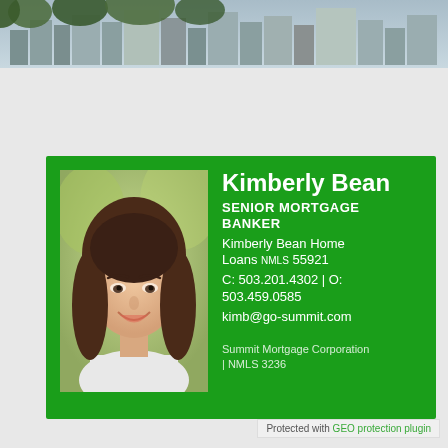[Figure (photo): City skyline banner photo at top of page showing buildings and trees]
[Figure (photo): Professional headshot of Kimberly Bean, a woman with brown hair smiling, on green background card]
Kimberly Bean
SENIOR MORTGAGE BANKER
Kimberly Bean Home Loans NMLS 55921
C: 503.201.4302 | O: 503.459.0585
kimb@go-summit.com
Summit Mortgage Corporation | NMLS 3236
Protected with GEO protection plugin